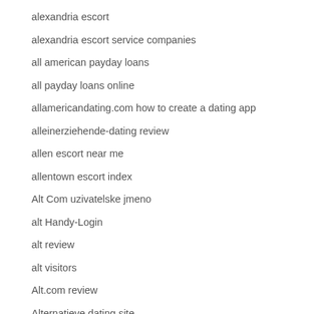alexandria escort
alexandria escort service companies
all american payday loans
all payday loans online
allamericandating.com how to create a dating app
alleinerziehende-dating review
allen escort near me
allentown escort index
Alt Com uzivatelske jmeno
alt Handy-Login
alt review
alt visitors
Alt.com review
Alternatieve dating site
Alternatieve Dating Sites Buiten